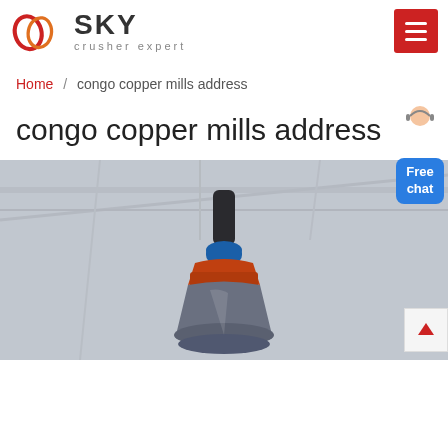SKY crusher expert
Home / congo copper mills address
congo copper mills address
[Figure (photo): Close-up photo of a cone crusher machine suspended from industrial ceiling, showing the top section with blue and orange/red components against a blurred factory background.]